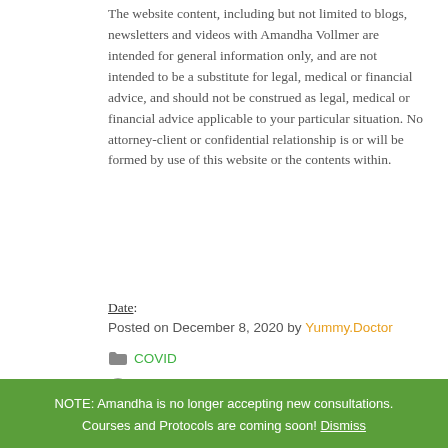The website content, including but not limited to blogs, newsletters and videos with Amandha Vollmer are intended for general information only, and are not intended to be a substitute for legal, medical or financial advice, and should not be construed as legal, medical or financial advice applicable to your particular situation. No attorney-client or confidential relationship is or will be formed by use of this website or the contents within.
Date:
Posted on December 8, 2020 by Yummy.Doctor
COVID
993 views
Facebook  Twitter  Linkedin  Pin It  Tumblr  WhatsApp
You may also like
NOTE: Amandha is no longer accepting new consultations. Courses and Protocols are coming soon! Dismiss